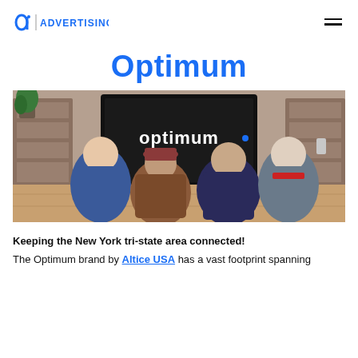a' | ADVERTISING
Optimum
[Figure (photo): Four people seen from behind sitting on a floor watching a large TV screen displaying the Optimum logo in a modern living room with wooden shelving units and a plant.]
Keeping the New York tri-state area connected!
The Optimum brand by Altice USA has a vast footprint spanning